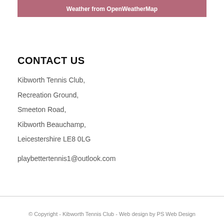Weather from OpenWeatherMap
CONTACT US
Kibworth Tennis Club,
Recreation Ground,
Smeeton Road,
Kibworth Beauchamp,
Leicestershire LE8 0LG
playbettertennis1@outlook.com
© Copyright - Kibworth Tennis Club - Web design by PS Web Design